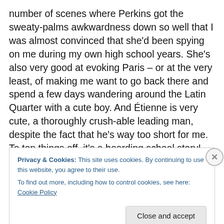number of scenes where Perkins got the sweaty-palms awkwardness down so well that I was almost convinced that she'd been spying on me during my own high school years. She's also very good at evoking Paris – or at the very least, of making me want to go back there and spend a few days wandering around the Latin Quarter with a cute boy. And Étienne is very cute, a thoroughly crush-able leading man, despite the fact that he's way too short for me. To top things off, it's a boarding school story! That right there would have been enough to sell me, even if it weren't for the other good points.
Privacy & Cookies: This site uses cookies. By continuing to use this website, you agree to their use.
To find out more, including how to control cookies, see here: Cookie Policy